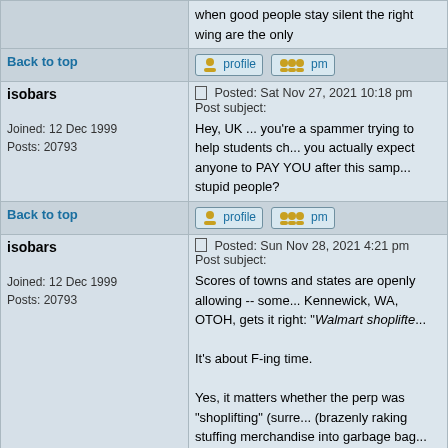when good people stay silent the right wing are the only
Back to top
profile   pm
isobars
Joined: 12 Dec 1999
Posts: 20793
Posted: Sat Nov 27, 2021 10:18 pm   Post subject:
Hey, UK ... you're a spammer trying to help students ch... you actually expect anyone to PAY YOU after this samp... stupid people?
Back to top
profile   pm
isobars
Joined: 12 Dec 1999
Posts: 20793
Posted: Sun Nov 28, 2021 4:21 pm   Post subject:
Scores of towns and states are openly allowing -- some... Kennewick, WA, OTOH, gets it right: "Walmart shoplifte...

It's about F-ing time.

Yes, it matters whether the perp was "shoplifting" (surre... (brazenly raking stuffing merchandise into garbage bag... of encouraging them.

That was heartening enough even without the rest of th... only after being fired upon. Damn! I was hoping an actu... twice at close range in an undeniable case of self defer...

The best thing about the whole newspaper article was t... either guy's skin color was.

How can a political party call itself... set racial prejudice back one to tw...